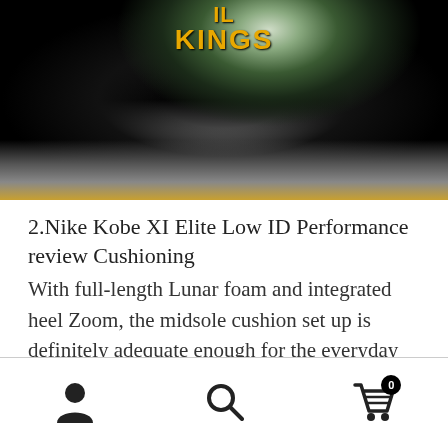[Figure (photo): Close-up photo of a Nike Kobe XI basketball shoe tongue showing 'KINGS' embroidered in gold letters on black fabric, with shoelaces and sole visible]
2.Nike Kobe XI Elite Low ID Performance review Cushioning
With full-length Lunar foam and integrated heel Zoom, the midsole cushion set up is definitely adequate enough for the everyday baller, especially if you play close to the ground
Navigation bar with person icon, search icon, and cart icon with badge showing 0